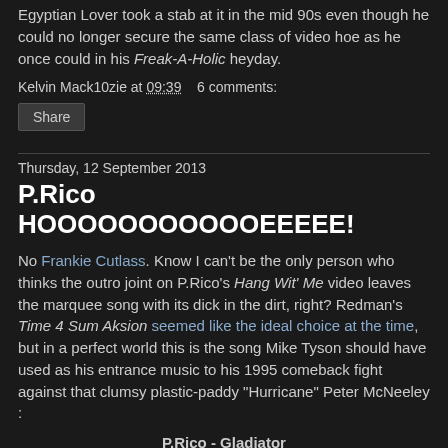Egyptian Lover took a stab at it in the mid 90s even though he could no longer secure the same class of video hoe as he once could in his Freak-A-Holic heyday.
Kelvin Mack10zie at 09:39   6 comments:
Share
Thursday, 12 September 2013
P.Rico HOOOOOOOOOOOEEEEE!
No Frankie Cutlass. Know I can't be the only person who thinks the outro joint on P.Rico's Hang Wit' Me video leaves the marquee song with its dick in the dirt, right? Redman's Time 4 Sum Aksion seemed like the ideal choice at the time, but in a perfect world this is the song Mike Tyson should have used as his entrance music to his 1995 comeback fight against that clumsy plastic-paddy "Hurricane" Peter McNeeley :
P.Rico - Gladiator
(From Welcome To Puerto Rico mixtape, 2013)